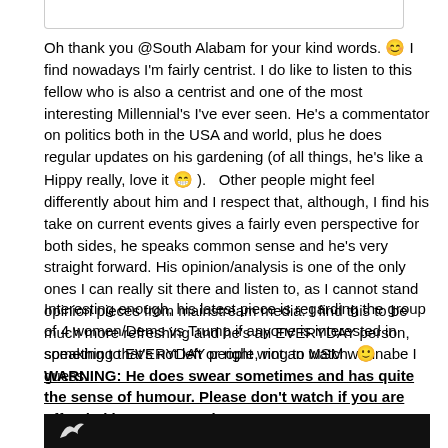Oh thank you @South Alabam for your kind words. 😊 I find nowadays I'm fairly centrist. I do like to listen to this fellow who is also a centrist and one of the most interesting Millennial's I've ever seen. He's a commentator on politics both in the USA and world, plus he does regular updates on his gardening (of all things, he's like a Hippy really, love it 😁 ). Other people might feel differently about him and I respect that, although, I find his take on current events gives a fairly even perspective for both sides, he speaks common sense and he's very straight forward. His opinion/analysis is one of the only ones I can really sit there and listen to, as I cannot stand opinion pieces from mainstream media. I find this to be much more refreshing and he's an EVERYDAY person, speaking to EVERYDAY people, not an MSM wannabe I guess.
Interesting enough, his latest piece is regarding the group of 4 women/Dems vs Trump if anyone is interested in something that's not left or right wing to watch. 🙂 WARNING: He does swear sometimes and has quite the sense of humour. Please don't watch if you are offended by swear words or sarcasm.
[Figure (photo): Dark/black image strip at the bottom, showing partial white bird or logo shape on the left]